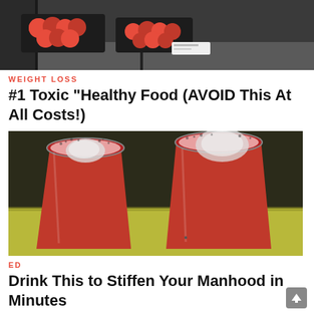[Figure (photo): Photo of red apples in black trays on a store shelf, dark background]
WEIGHT LOSS
#1 Toxic “Healthy Food (AVOID This At All Costs!)
[Figure (photo): Photo of two tall glasses filled with red/pink juice or smoothie with ice, sitting on a yellow-green surface, dark background]
ED
Drink This to Stiffen Your Manhood in Minutes